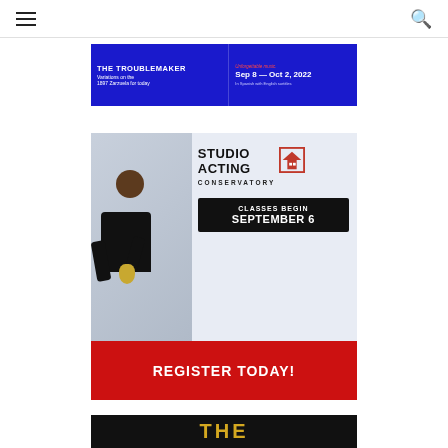Navigation header with hamburger menu and search icon
[Figure (illustration): Blue banner advertisement for opera: 'THE TROUBLEMAKER - Variations on the 1897 Zarzuela for today. Unforgettable music. Sep 8 - Oct 2, 2022. In Spanish with English surtitles']
[Figure (illustration): Studio Acting Conservatory advertisement. Woman holding golden object on left. Text: STUDIO ACTING CONSERVATORY with house logo icon. CLASSES BEGIN SEPTEMBER 6. REGISTER TODAY! in red banner at bottom.]
[Figure (illustration): Partial black banner with golden/yellow text 'THE' visible at bottom of page]